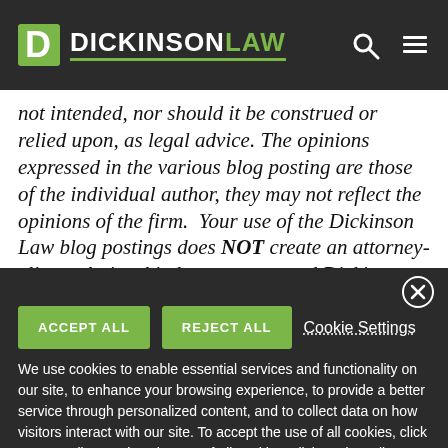DICKINSON LAW
not intended, nor should it be construed or relied upon, as legal advice. The opinions expressed in the various blog posting are those of the individual author, they may not reflect the opinions of the firm.  Your use of the Dickinson Law blog postings does NOT create an attorney-client relationship between you and Dickinson
ACCEPT ALL   REJECT ALL   Cookie Settings
We use cookies to enable essential services and functionality on our site, to enhance your browsing experience, to provide a better service through personalized content, and to collect data on how visitors interact with our site. To accept the use of all cookies, click "Accept all". To reject the use of all cookies, click "Reject all". You can customize your cookie preferences by clicking "Cookie Settings". For more information about our use of cookies and to opt-out of cookies at any time, please refer to our website Privacy Policy.